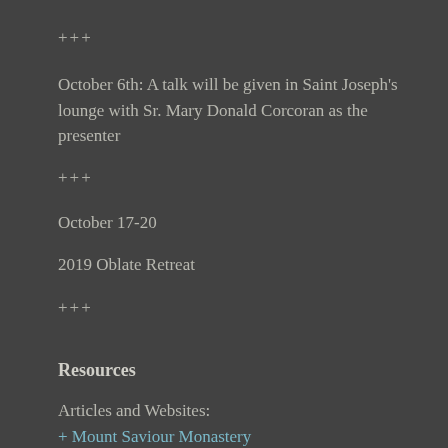+++
October 6th: A talk will be given in Saint Joseph's lounge with Sr. Mary Donald Corcoran as the presenter
+++
October 17-20
2019 Oblate Retreat
+++
Resources
Articles and Websites:
+ Mount Saviour Monastery